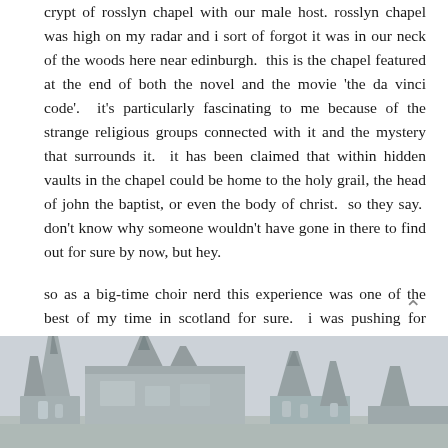crypt of rosslyn chapel with our male host. rosslyn chapel was high on my radar and i sort of forgot it was in our neck of the woods here near edinburgh.  this is the chapel featured at the end of both the novel and the movie 'the da vinci code'.  it's particularly fascinating to me because of the strange religious groups connected with it and the mystery that surrounds it.  it has been claimed that within hidden vaults in the chapel could be home to the holy grail, the head of john the baptist, or even the body of christ.  so they say.  don't know why someone wouldn't have gone in there to find out for sure by now, but hey.

so as a big-time choir nerd this experience was one of the best of my time in scotland for sure.  i was pushing for singing 'verbum caro factum est' but nobody knew it.  boo.
[Figure (photo): Partial view of Rosslyn Chapel exterior showing Gothic spires and stonework, cropped at bottom of page]